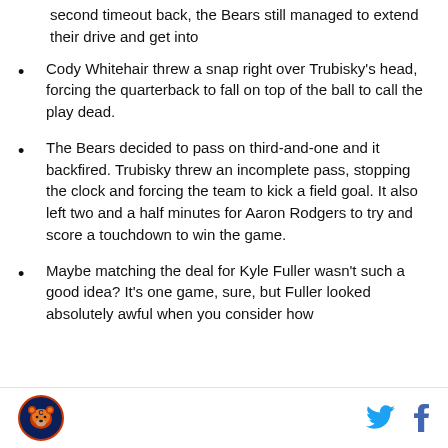second timeout back, the Bears still managed to extend their drive and get into
Cody Whitehair threw a snap right over Trubisky's head, forcing the quarterback to fall on top of the ball to call the play dead.
The Bears decided to pass on third-and-one and it backfired. Trubisky threw an incomplete pass, stopping the clock and forcing the team to kick a field goal. It also left two and a half minutes for Aaron Rodgers to try and score a touchdown to win the game.
Maybe matching the deal for Kyle Fuller wasn't such a good idea? It's one game, sure, but Fuller looked absolutely awful when you consider how